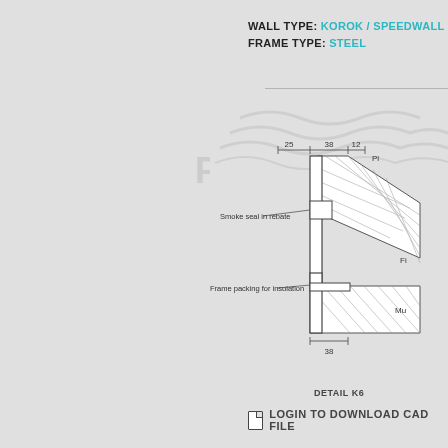WALL TYPE: KOROK / SPEEDWALL
FRAME TYPE: STEEL
[Figure (engineering-diagram): Technical cross-section detail K6 showing wall frame with dimensions 25, 38, 12 marked at top. Labels include 'Smoke seal in rebate', 'Frame packing for insulation', dimension '38' at bottom. Partial labels 'Pl...' and 'Fi...' and 'Mu...' visible at right edge. Pacific watermark visible. Detail labeled 'DETAIL K6'.]
DETAIL K6
LOGIN TO DOWNLOAD CAD FILE